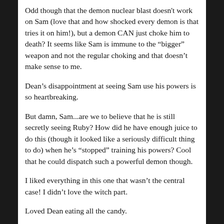Odd though that the demon nuclear blast doesn't work on Sam (love that and how shocked every demon is that tries it on him!), but a demon CAN just choke him to death? It seems like Sam is immune to the “bigger” weapon and not the regular choking and that doesn’t make sense to me.
Dean’s disappointment at seeing Sam use his powers is so heartbreaking.
But damn, Sam...are we to believe that he is still secretly seeing Ruby? How did he have enough juice to do this (though it looked like a seriously difficult thing to do) when he’s “stopped” training his powers? Cool that he could dispatch such a powerful demon though.
I liked everything in this one that wasn’t the central case! I didn’t love the witch part.
Loved Dean eating all the candy.
On first watch I thought the kid in the astronaut suit scene was funny, but watching this time it kind of stuck out as odd and too long. They had fun with camera angles.